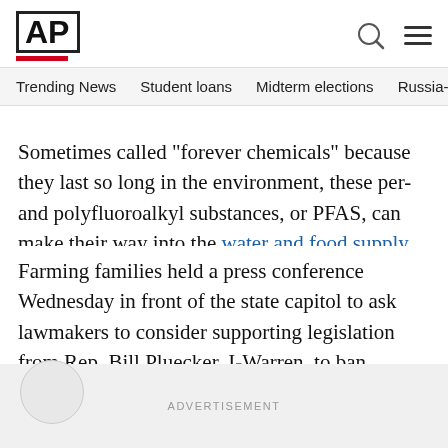AP
Trending News    Student loans    Midterm elections    Russia-Ukr
Sometimes called "forever chemicals" because they last so long in the environment, these per- and polyfluoroalkyl substances, or PFAS, can make their way into the water and food supply.
Farming families held a press conference Wednesday in front of the state capitol to ask lawmakers to consider supporting legislation from Rep. Bill Pluecker, I-Warren, to ban fertilizer containing untreated sludge, The Portland Press Herald reported.
ADVERTISEMENT